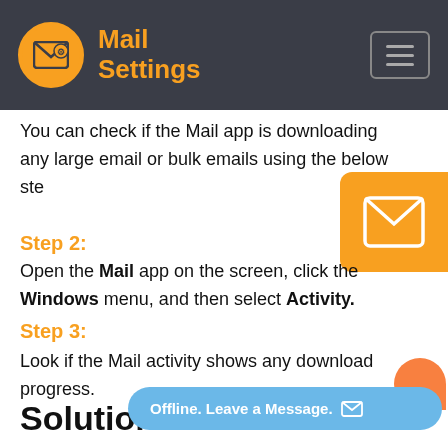Mail Settings
You can check if the Mail app is downloading any large email or bulk emails using the below ste
Step 2:
Open the Mail app on the screen, click the Windows menu, and then select Activity.
Step 3:
Look if the Mail activity shows any download progress.
Solution-2: Cor
[Figure (logo): Orange square with envelope/mail icon]
[Figure (other): Blue pill-shaped button with text: Offline. Leave a Message. with envelope icon]